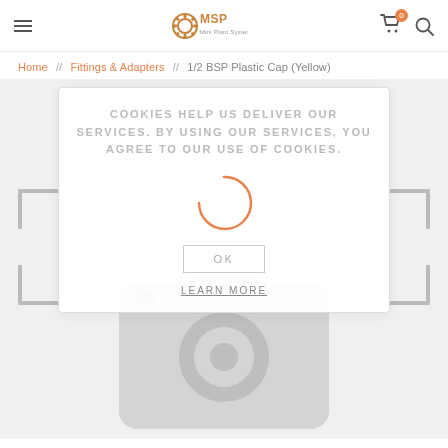MSP logo, hamburger menu, cart icon with badge 0, search icon
Home // Fittings & Adapters // 1/2 BSP Plastic Cap (Yellow)
[Figure (screenshot): Cookie consent popup overlay on a product page. Text reads: COOKIES HELP US DELIVER OUR SERVICES. BY USING OUR SERVICES, YOU AGREE TO OUR USE OF COOKIES. Loading spinner. OK button. LEARN MORE link. Behind overlay: product image placeholder (camera icon) and corner bracket decorations.]